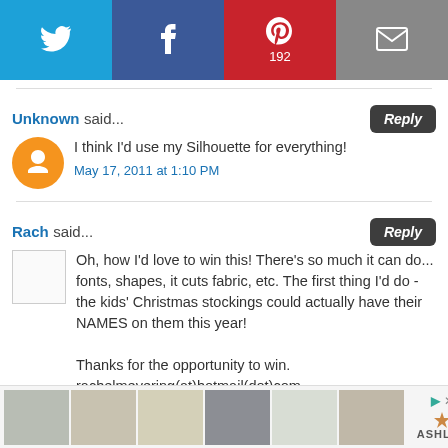[Figure (infographic): Social sharing bar with Twitter (blue), Facebook (dark blue), Pinterest (red, count 192), and Email (gray) buttons]
Unknown said...
I think I'd use my Silhouette for everything!
May 17, 2011 at 1:10 PM
Rach said...
Oh, how I'd love to win this! There's so much it can do... fonts, shapes, it cuts fabric, etc. The first thing I'd do - the kids' Christmas stockings could actually have their NAMES on them this year!

Thanks for the opportunity to win.
rachelmeyering(at)hotmail(dot)com
May 17, 2011 at 1:10 PM
[Figure (infographic): Advertisement bar at the bottom with thumbnail images and Ashley brand logo]